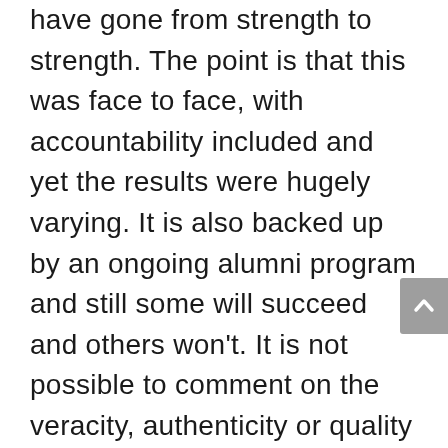have gone from strength to strength. The point is that this was face to face, with accountability included and yet the results were hugely varying. It is also backed up by an ongoing alumni program and still some will succeed and others won't. It is not possible to comment on the veracity, authenticity or quality of Chris's failproof course as I haven't done it. However, the point you raise is whether the word failproof can be used in connection with any online or offline business course. I believe